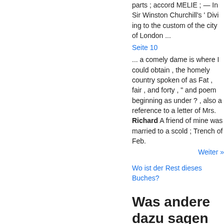parts | accord MELIE ; — In Sir Winston Churchill's ' Divi ing to the custom of the city of London ...
Seite 10
... a comely dame is where I could obtain , the homely country spoken of as Fat , fair , and forty , " and poem beginning as under ? , also a reference to a letter of Mrs. Richard A friend of mine was married to a scold ; Trench of Feb.
Weiter »
Wo ist der Rest dieses Buches?
Was andere dazu sagen Rezension